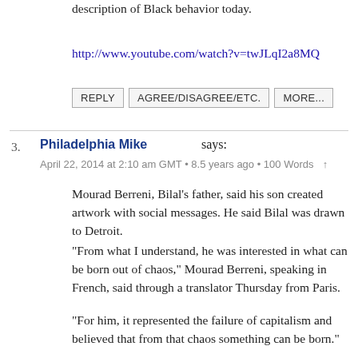description of Black behavior today.
http://www.youtube.com/watch?v=twJLqI2a8MQ
REPLY   AGREE/DISAGREE/ETC.   MORE...
3.  Philadelphia Mike says:
April 22, 2014 at 2:10 am GMT • 8.5 years ago • 100 Words  ↑
Mourad Berreni, Bilal's father, said his son created artwork with social messages. He said Bilal was drawn to Detroit.
“From what I understand, he was interested in what can be born out of chaos,” Mourad Berreni, speaking in French, said through a translator Thursday from Paris.
“For him, it represented the failure of capitalism and believed that from that chaos something can be born.”
Detroit is not the failure of capitalism. It’s the failure of socialism, black dysfunction, and the entitlement legacy of the